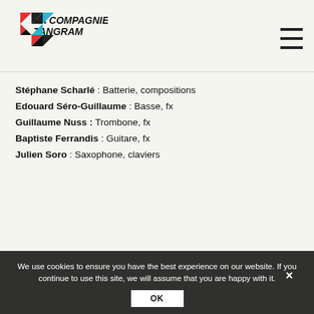[Figure (logo): La Compagnie Tangram logo with geometric triangles in red, blue, black and white]
Stéphane Scharlé : Batterie, compositions
Edouard Séro-Guillaume : Basse, fx
Guillaume Nuss : Trombone, fx
Baptiste Ferrandis : Guitare, fx
Julien Soro : Saxophone, claviers
We use cookies to ensure you have the best experience on our website. If you continue to use this site, we will assume that you are happy with it.